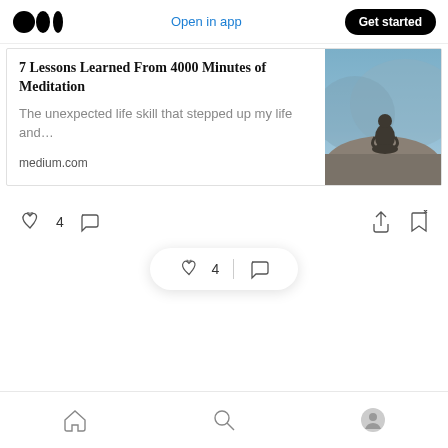Medium logo | Open in app | Get started
7 Lessons Learned From 4000 Minutes of Meditation
The unexpected life skill that stepped up my life and…
medium.com
[Figure (photo): Person sitting in meditation pose on a rocky surface with misty blue mountains in the background]
[Figure (infographic): Action bar with clap icon showing 4 claps and comment icon, plus share and save icons on the right]
[Figure (infographic): Floating action bar with clap icon showing 4, divider, and comment icon]
Bottom navigation bar with home, search, and profile icons